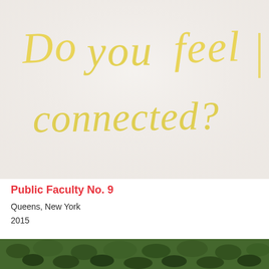[Figure (photo): Photograph of a white wall or whiteboard with handwritten yellow text reading 'Do you feel connected?']
Public Faculty No. 9
Queens, New York
2015
[Figure (photo): Partial photograph showing green foliage/bushes at the bottom of the page]